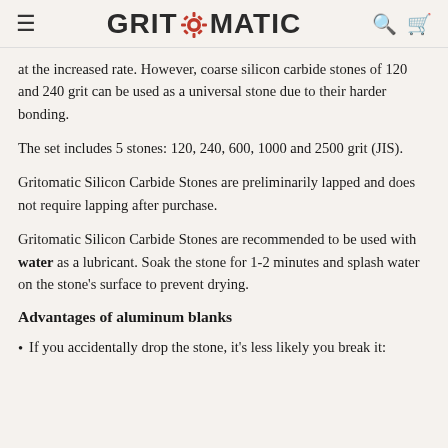GRITOMATIC
at the increased rate. However, coarse silicon carbide stones of 120 and 240 grit can be used as a universal stone due to their harder bonding.
The set includes 5 stones: 120, 240, 600, 1000 and 2500 grit (JIS).
Gritomatic Silicon Carbide Stones are preliminarily lapped and does not require lapping after purchase.
Gritomatic Silicon Carbide Stones are recommended to be used with water as a lubricant. Soak the stone for 1-2 minutes and splash water on the stone's surface to prevent drying.
Advantages of aluminum blanks
If you accidentally drop the stone, it's less likely you break it: